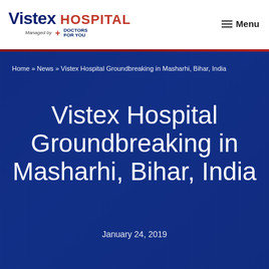[Figure (logo): Vistex Hospital logo with 'Managed by Doctors For You' tagline]
≡ Menu
[Figure (screenshot): Hero image of hospital building with blue overlay]
Home » News » Vistex Hospital Groundbreaking in Masharhi, Bihar, India
Vistex Hospital Groundbreaking in Masharhi, Bihar, India
January 24, 2019